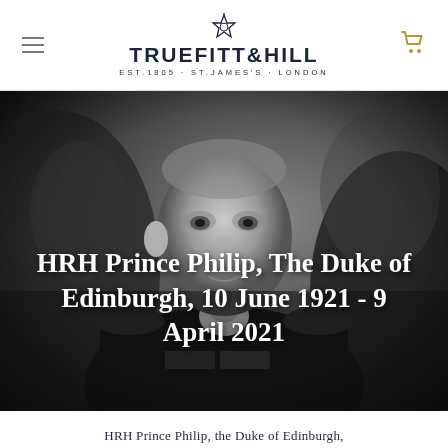TRUEFITT & HILL EST.1805 · ST.JAMES'S · LONDON
[Figure (photo): Black and white portrait photograph of HRH Prince Philip, The Duke of Edinburgh, in military dress uniform with medals, set against a dark textured background. Overlaid text reads: HRH Prince Philip, The Duke of Edinburgh, 10 June 1921 - 9 April 2021]
HRH Prince Philip, the Duke of Edinburgh,